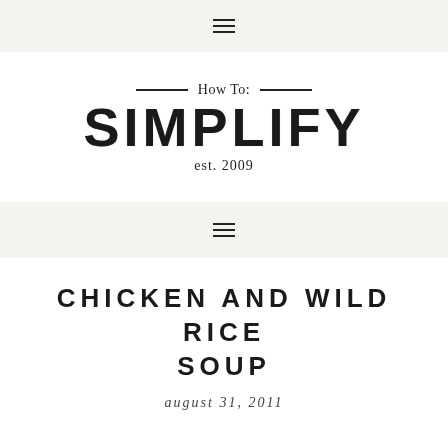≡
[Figure (logo): How To: SIMPLIFY est. 2009 blog logo with decorative horizontal lines flanking the 'How To:' text and large distressed bold uppercase SIMPLIFY text]
≡
CHICKEN AND WILD RICE SOUP
august 31, 2011